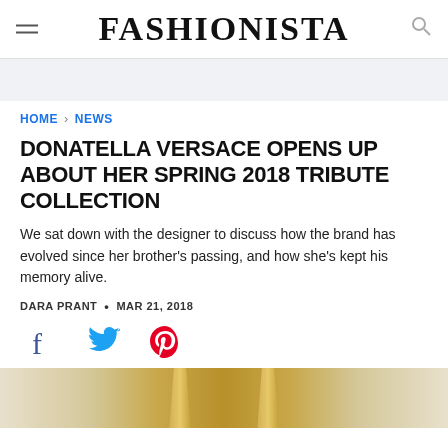FASHIONISTA
HOME › NEWS
DONATELLA VERSACE OPENS UP ABOUT HER SPRING 2018 TRIBUTE COLLECTION
We sat down with the designer to discuss how the brand has evolved since her brother's passing, and how she's kept his memory alive.
DARA PRANT • MAR 21, 2018
[Figure (other): Social share icons: Facebook (blue), Twitter (blue bird), Pinterest (red)]
[Figure (photo): Bottom strip showing gold-colored fashion accessories or clothing details]